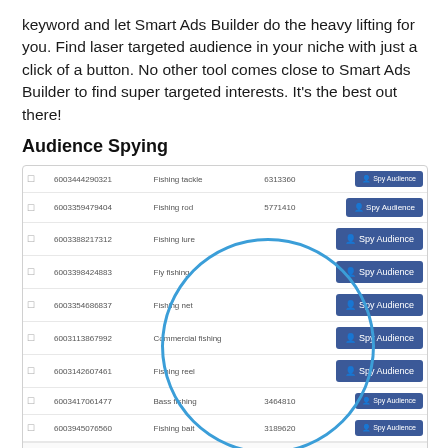keyword and let Smart Ads Builder do the heavy lifting for you. Find laser targeted audience in your niche with just a click of a button. No other tool comes close to Smart Ads Builder to find super targeted interests. It's the best out there!
Audience Spying
[Figure (screenshot): Screenshot of Smart Ads Builder audience spying interface showing a table with rows of audience IDs, names (Fishing tackle, Fishing rod, Fishing lure, Fly fishing, Fishing net, Commercial fishing, Fishing reel, Bass fishing, Fishing bait), audience sizes, and Spy Audience buttons. A circular highlight overlays several Spy Audience buttons in the center-right of the table. Caption reads: Smart Ads Builder by Smart ADs Builder Team]